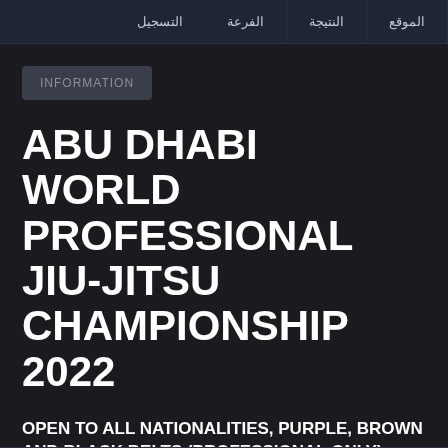الموقع  النتيجة  الفرعة  التسجيل
INFORMATION
ABU DHABI WORLD PROFESSIONAL JIU-JITSU CHAMPIONSHIP 2022
OPEN TO ALL NATIONALITIES, PURPLE, BROWN AND BLACK BELTS (PROFESSIONAL ONLY)
Click here to register >>>